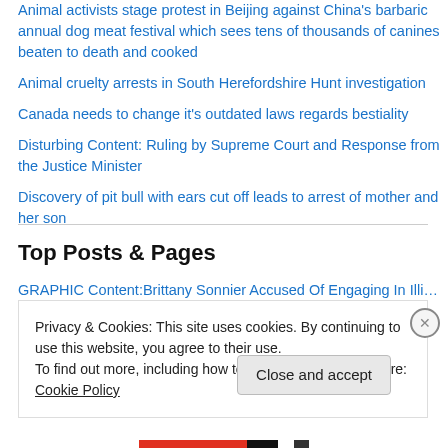Animal activists stage protest in Beijing against China's barbaric annual dog meat festival which sees tens of thousands of canines beaten to death and cooked
Animal cruelty arrests in South Herefordshire Hunt investigation
Canada needs to change it’s outdated laws regards bestiality
Disturbing Content: Ruling by Supreme Court and Response from the Justice Minister
Discovery of pit bull with ears cut off leads to arrest of mother and her son
Top Posts & Pages
GRAPHIC Content:Brittany Sonnier Accused Of Engaging In Illicit Acts
Privacy & Cookies: This site uses cookies. By continuing to use this website, you agree to their use.
To find out more, including how to control cookies, see here: Cookie Policy